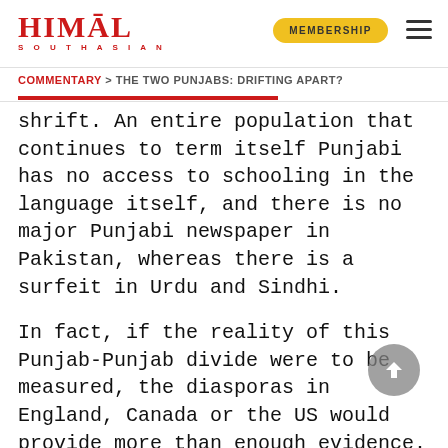HIMAL SOUTHASIAN — MEMBERSHIP
COMMENTARY > THE TWO PUNJABS: DRIFTING APART?
shrift. An entire population that continues to term itself Punjabi has no access to schooling in the language itself, and there is no major Punjabi newspaper in Pakistan, whereas there is a surfeit in Urdu and Sindhi.
In fact, if the reality of this Punjab-Punjab divide were to be measured, the diasporas in England, Canada or the US would provide more than enough evidence. Nowhere has the gulf between Punjabis on religious terms been bridged by the